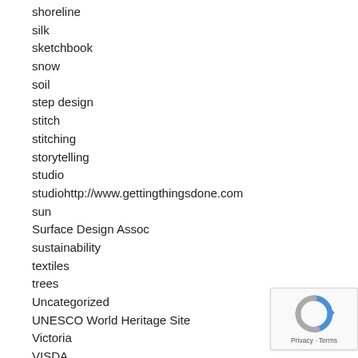shoreline
silk
sketchbook
snow
soil
step design
stitch
stitching
storytelling
studio
studiohttp://www.gettingthingsdone.com
sun
Surface Design Assoc
sustainability
textiles
trees
Uncategorized
UNESCO World Heritage Site
Victoria
VISDA
war
water
wedding
Wendy Klotz
Winnipeg